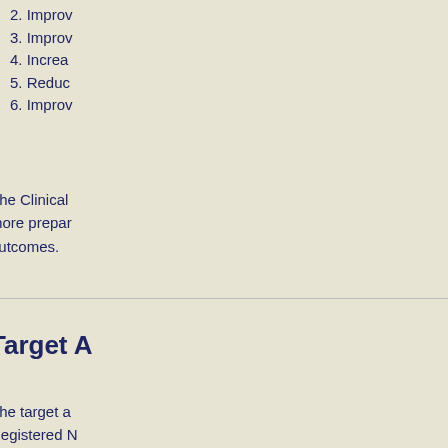2. Improv
3. Improv
4. Increa
5. Reduc
6. Improv
The Clinical more prepar outcomes.
Target A
The target a Registered N Care Coord that support specialty ca “Chronic Illn Home Healt fitness profe